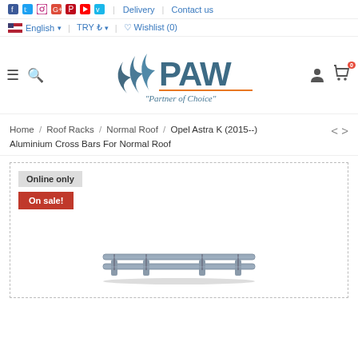f  Twitter  Instagram  G+  Pinterest  YouTube  Vimeo  |  Delivery  |  Contact us
English  |  TRY ₺  |  Wishlist (0)
[Figure (logo): PAW logo with stylized wing/wave mark and tagline 'Partner of Choice']
Home / Roof Racks / Normal Roof / Opel Astra K (2015--) Aluminium Cross Bars For Normal Roof
Online only
On sale!
[Figure (photo): Aluminium cross bars roof rack product photo]